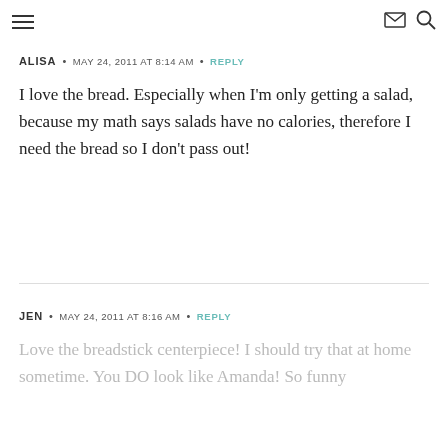≡  ✉ 🔍
ALISA • MAY 24, 2011 AT 8:14 AM • REPLY
I love the bread. Especially when I'm only getting a salad, because my math says salads have no calories, therefore I need the bread so I don't pass out!
JEN • MAY 24, 2011 AT 8:16 AM • REPLY
Love the breadstick centerpiece! I should try that at home sometime. You DO look like Amanda! So funny